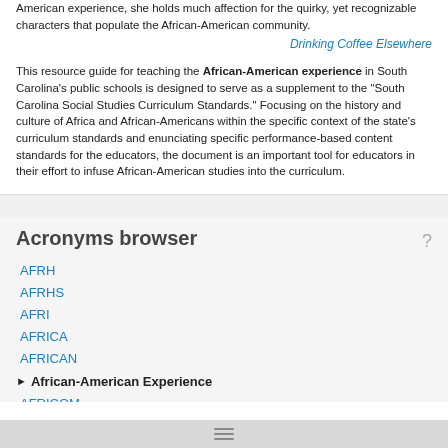American experience, she holds much affection for the quirky, yet recognizable characters that populate the African-American community.
Drinking Coffee Elsewhere
This resource guide for teaching the African-American experience in South Carolina's public schools is designed to serve as a supplement to the "South Carolina Social Studies Curriculum Standards." Focusing on the history and culture of Africa and African-Americans within the specific context of the state's curriculum standards and enunciating specific performance-based content standards for the educators, the document is an important tool for educators in their effort to infuse African-American studies into the curriculum.
Acronyms browser
AFRH
AFRHS
AFRI
AFRICA
AFRICAN
African-American Experience
AFRICOM